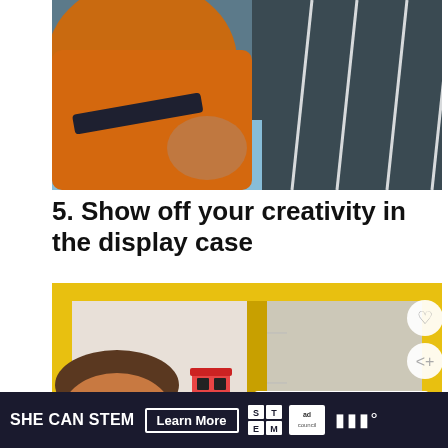[Figure (photo): Top portion of a child in an orange and dark striped shirt, viewed from behind/side, with a dark floor visible]
5. Show off your creativity in the display case
[Figure (photo): A boy looking at a yellow display case/shelf containing a small LEGO model and a label card, with a teal heart icon and share icon overlay, and a 'What's Next' callout showing 'Creativity on Display -...']
[Figure (infographic): Advertisement bar: SHE CAN STEM with Learn More button, STEM grid logo, Ad Council logo]